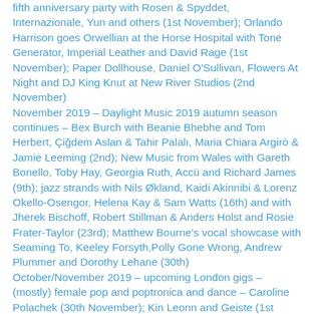fifth anniversary party with Rosen & Spyddet, Internazionale, Yun and others (1st November); Orlando Harrison goes Orwellian at the Horse Hospital with Tone Generator, Imperial Leather and David Rage (1st November); Paper Dollhouse, Daniel O'Sullivan, Flowers At Night and DJ King Knut at New River Studios (2nd November)
November 2019 – Daylight Music 2019 autumn season continues – Bex Burch with Beanie Bhebhe and Tom Herbert, Çiğdem Aslan & Tahir Palalı, Maria Chiara Argirò & Jamie Leeming (2nd); New Music from Wales with Gareth Bonello, Toby Hay, Georgia Ruth, Accü and Richard James (9th); jazz strands with Nils Økland, Kaidi Akinnibi & Lorenz Okello-Osengor, Helena Kay & Sam Watts (16th) and with Jherek Bischoff, Robert Stillman & Anders Holst and Rosie Frater-Taylor (23rd); Matthew Bourne's vocal showcase with Seaming To, Keeley Forsyth, Polly Gone Wrong, Andrew Plummer and Dorothy Lehane (30th)
October/November 2019 – upcoming London gigs – (mostly) female pop and poptronica and dance – Caroline Polachek (30th November); Kin Leonn and Geiste (1st November); Imogen Heap and Frou Frou (15th November); Kedr Livanskiy and Detalji (21st November), and Yeule at nearly all of these…